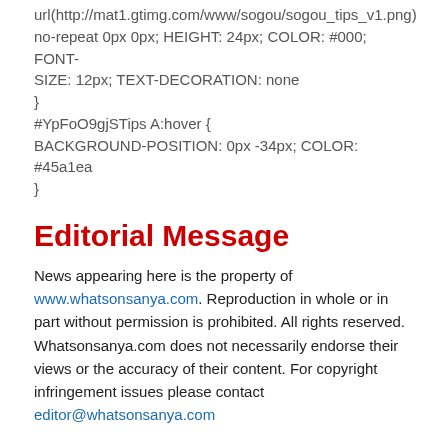url(http://mat1.gtimg.com/www/sogou/sogou_tips_v1.png) no-repeat 0px 0px; HEIGHT: 24px; COLOR: #000; FONT-SIZE: 12px; TEXT-DECORATION: none
}
#YpFoO9gjSTips A:hover {
BACKGROUND-POSITION: 0px -34px; COLOR: #45a1ea
}
Editorial Message
News appearing here is the property of www.whatsonsanya.com. Reproduction in whole or in part without permission is prohibited. All rights reserved. Whatsonsanya.com does not necessarily endorse their views or the accuracy of their content. For copyright infringement issues please contact editor@whatsonsanya.com
Previous news: Sanya among China's Top 10 Most Culturally Creative Tourism Cities
Next news: 2015 Sanya Travel Industry Badminton